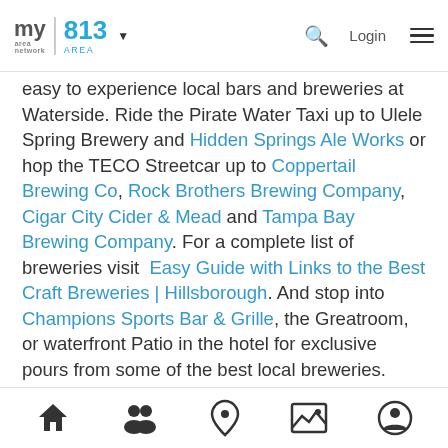my area network | 813 AREA ▼  🔍  Login  ≡
easy to experience local bars and breweries at Waterside. Ride the Pirate Water Taxi up to Ulele Spring Brewery and Hidden Springs Ale Works or hop the TECO Streetcar up to Coppertail Brewing Co, Rock Brothers Brewing Company, Cigar City Cider & Mead and Tampa Bay Brewing Company. For a complete list of breweries visit  Easy Guide with Links to the Best Craft Breweries | Hillsborough. And stop into Champions Sports Bar & Grille, the Greatroom, or waterfront Patio in the hotel for exclusive pours from some of the best local breweries.
Related Content:  Marriott Waterside Craft Beer
🏠  👥  📍  🖼  👤